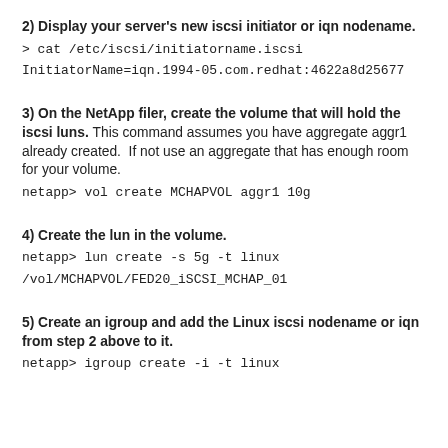2) Display your server's new iscsi initiator or iqn nodename.
> cat /etc/iscsi/initiatorname.iscsi
InitiatorName=iqn.1994-05.com.redhat:4622a8d25677
3) On the NetApp filer, create the volume that will hold the iscsi luns. This command assumes you have aggregate aggr1 already created. If not use an aggregate that has enough room for your volume.
netapp> vol create MCHAPVOL aggr1 10g
4) Create the lun in the volume.
netapp> lun create -s 5g -t linux /vol/MCHAPVOL/FED20_iSCSI_MCHAP_01
5) Create an igroup and add the Linux iscsi nodename or iqn from step 2 above to it.
netapp> igroup create -i -t linux